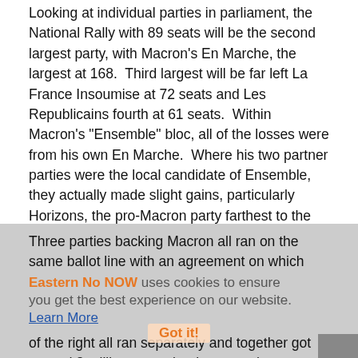Looking at individual parties in parliament, the National Rally with 89 seats will be the second largest party, with Macron's En Marche, the largest at 168.  Third largest will be far left La France Insoumise at 72 seats and Les Republicains fourth at 61 seats.  Within Macron's "Ensemble" bloc, all of the losses were from his own En Marche.  Where his two partner parties were the local candidate of Ensemble, they actually made slight gains, particularly Horizons, the pro-Macron party farthest to the right in his coalition.
Three parties backing Macron all ran on the same ballot line with an agreement on which party got which seats, and four left wing parties did the same.  They each got about 5.8 million votes in the first round.  The four major parties of the right all ran separately and together got around 8 million votes, but because they were fragmented among four parties, they got less second round slots.  Since only 5 of the 577 seats were won outright in the first round